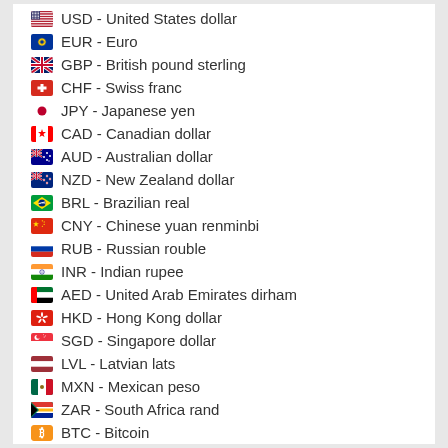USD - United States dollar
EUR - Euro
GBP - British pound sterling
CHF - Swiss franc
JPY - Japanese yen
CAD - Canadian dollar
AUD - Australian dollar
NZD - New Zealand dollar
BRL - Brazilian real
CNY - Chinese yuan renminbi
RUB - Russian rouble
INR - Indian rupee
AED - United Arab Emirates dirham
HKD - Hong Kong dollar
SGD - Singapore dollar
LVL - Latvian lats
MXN - Mexican peso
ZAR - South Africa rand
BTC - Bitcoin